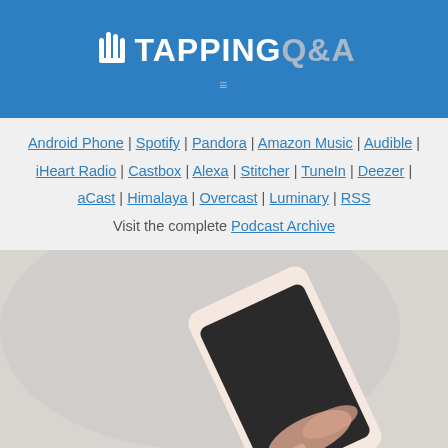[Figure (logo): Tapping Q&A logo with white hand/finger icon and text on blue background with hamburger menu icon]
Android Phone | Spotify | Pandora | Amazon Music | Audible | iHeart Radio | Castbox | Alexa | Stitcher | TuneIn | Deezer | aCast | Himalaya | Overcast | Luminary | RSS
Visit the complete Podcast Archive
[Figure (photo): Photo of a white smartphone held in a hand on a gray surface, partially cropped]